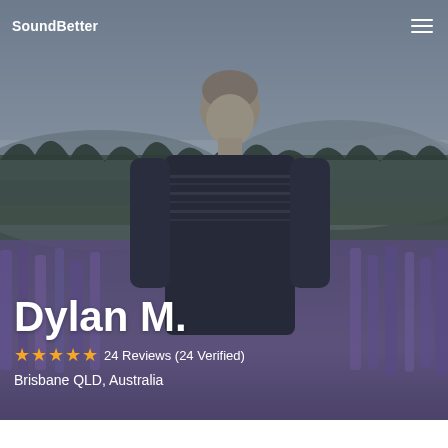SoundBetter
[Figure (photo): Background photo of a young man standing in a field of purple lupin flowers with mountains and misty sky behind him. The scene has a cool, muted tone.]
Dylan M.
24 Reviews (24 Verified)
Brisbane QLD, Australia